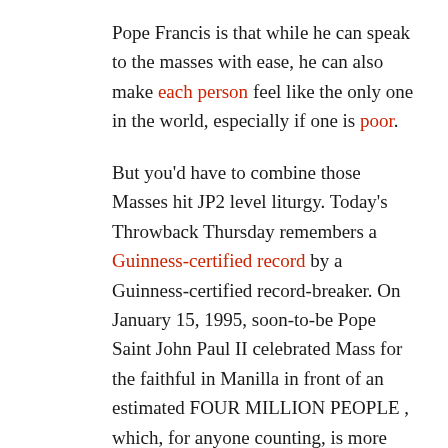Pope Francis is that while he can speak to the masses with ease, he can also make each person feel like the only one in the world, especially if one is poor.
But you'd have to combine those Masses hit JP2 level liturgy. Today's Throwback Thursday remembers a Guinness-certified record by a Guinness-certified record-breaker. On January 15, 1995, soon-to-be Pope Saint John Paul II celebrated Mass for the faithful in Manilla in front of an estimated FOUR MILLION PEOPLE , which, for anyone counting, is more people than  there are inhabitants of Los Angeles. People couldn't see the actual liturgy, but darn it, if the pope's there, then they were going to be too.